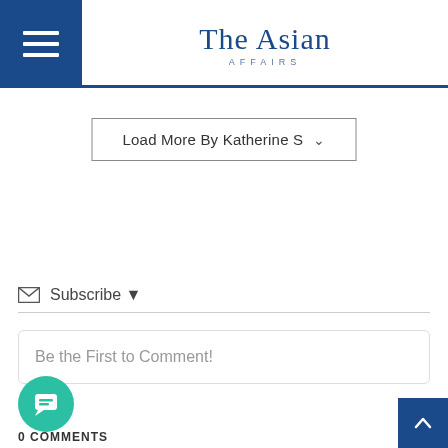The Asian AFFAIRS
Load More By Katherine S ▾
✉ Subscribe ▾
Be the First to Comment!
0 COMMENTS